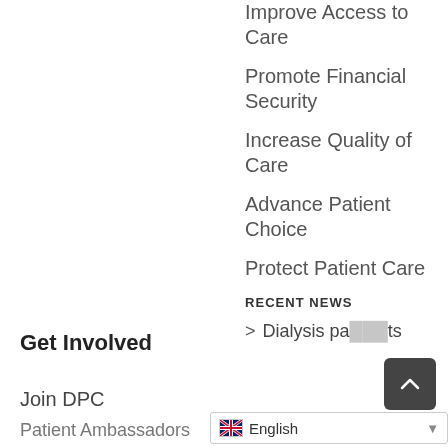Improve Access to Care
Promote Financial Security
Increase Quality of Care
Advance Patient Choice
Protect Patient Care
RECENT NEWS
Get Involved
Join DPC
Patient Ambassadors
> Dialysis patients